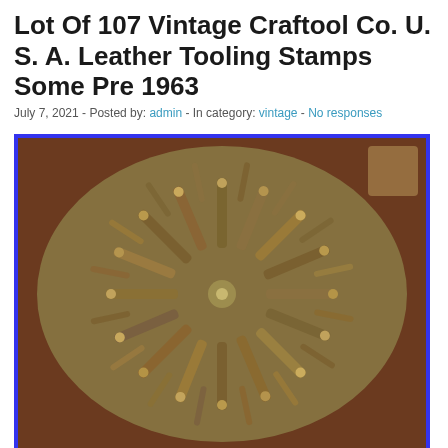Lot Of 107 Vintage Craftool Co. U. S. A. Leather Tooling Stamps Some Pre 1963
July 7, 2021 - Posted by: admin - In category: vintage - No responses
[Figure (photo): A circular arrangement of 107 vintage Craftool Co. leather tooling stamps radiating outward from the center on a dark brown wooden surface, photographed from above with a blue border.]